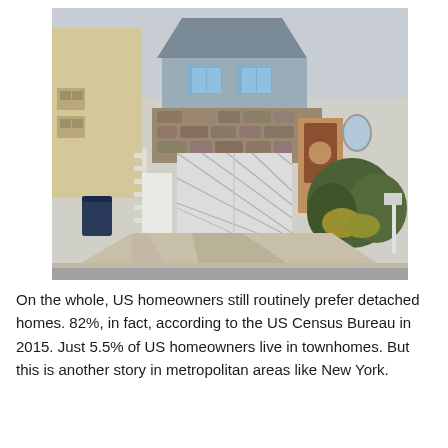[Figure (photo): Exterior photo of a detached suburban house with a stone-facade garage, white garage doors, a driveway, and shrubs in front. Neighboring buildings visible on the left.]
On the whole, US homeowners still routinely prefer detached homes. 82%, in fact, according to the US Census Bureau in 2015. Just 5.5% of US homeowners live in townhomes. But this is another story in metropolitan areas like New York.